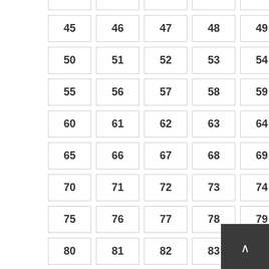| 40 | 41 | 42 | 43 | 44 |
| 45 | 46 | 47 | 48 | 49 |
| 50 | 51 | 52 | 53 | 54 |
| 55 | 56 | 57 | 58 | 59 |
| 60 | 61 | 62 | 63 | 64 |
| 65 | 66 | 67 | 68 | 69 |
| 70 | 71 | 72 | 73 | 74 |
| 75 | 76 | 77 | 78 | 79 |
| 80 | 81 | 82 | 83 | 84 |
| 85 | 86 | 87 | 88 | 89 |